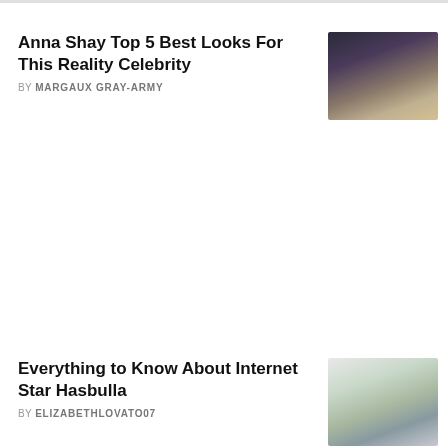Anna Shay Top 5 Best Looks For This Reality Celebrity
BY MARGAUX GRAY-ARMY
[Figure (photo): Photo of Anna Shay, a blonde woman seated in a stylish interior setting]
Everything to Know About Internet Star Hasbulla
BY ELIZABETHLOVATO07
[Figure (photo): Photo of Hasbulla with two other individuals, posed together in a casual setting]